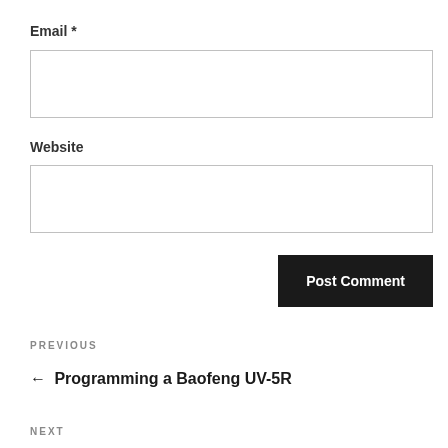Email *
Website
Post Comment
PREVIOUS
← Programming a Baofeng UV-5R
NEXT